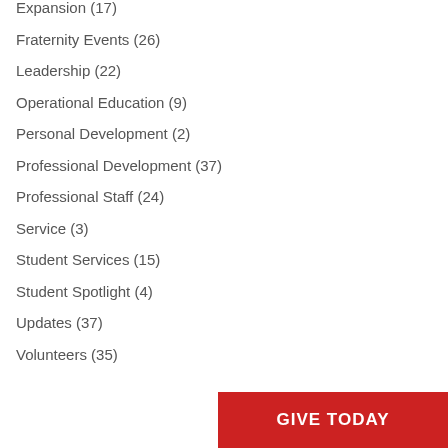Expansion (17)
Fraternity Events (26)
Leadership (22)
Operational Education (9)
Personal Development (2)
Professional Development (37)
Professional Staff (24)
Service (3)
Student Services (15)
Student Spotlight (4)
Updates (37)
Volunteers (35)
GIVE TODAY